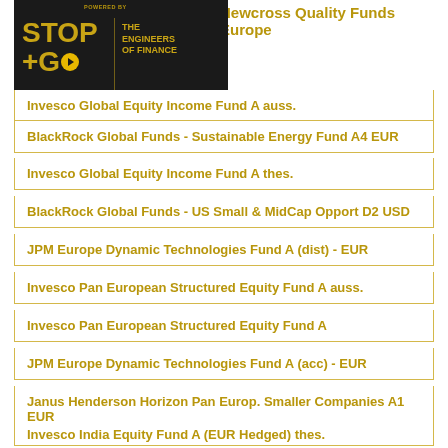Newcross Quality Funds Europe
[Figure (logo): Stop+Go Funds Performance logo with The Engineers of Finance branding on dark background]
Invesco Global Equity Income Fund A auss.
BlackRock Global Funds - Sustainable Energy Fund A4 EUR
Invesco Global Equity Income Fund A thes.
BlackRock Global Funds - US Small & MidCap Opport D2 USD
JPM Europe Dynamic Technologies Fund A (dist) - EUR
Invesco Pan European Structured Equity Fund A auss.
Invesco Pan European Structured Equity Fund A
JPM Europe Dynamic Technologies Fund A (acc) - EUR
Janus Henderson Horizon Pan Europ. Smaller Companies A1 EUR
Invesco India Equity Fund A (EUR Hedged) thes.
BNP Paribas Funds Climate Impact C
DWS Deutschland LC
BNP Paribas Funds Climate Impact D